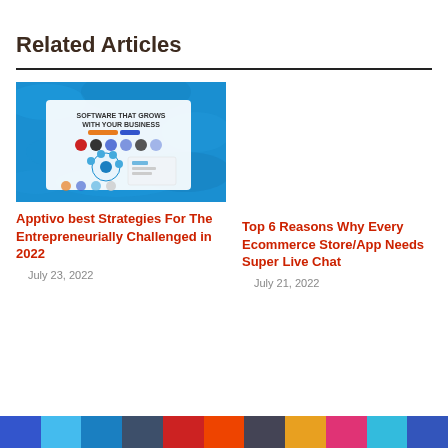Related Articles
[Figure (screenshot): Screenshot of Apptivo software interface showing 'Software that grows with your business' text on a blue water background]
Apptivo best Strategies For The Entrepreneurially Challenged in 2022
July 23, 2022
Top 6 Reasons Why Every Ecommerce Store/App Needs Super Live Chat
July 21, 2022